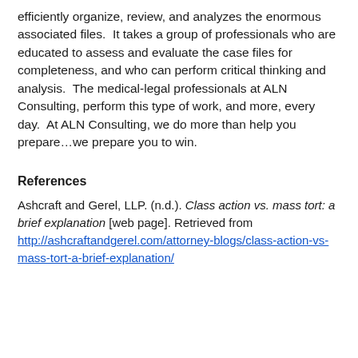efficiently organize, review, and analyzes the enormous associated files.  It takes a group of professionals who are educated to assess and evaluate the case files for completeness, and who can perform critical thinking and analysis.  The medical-legal professionals at ALN Consulting, perform this type of work, and more, every day.  At ALN Consulting, we do more than help you prepare…we prepare you to win.
References
Ashcraft and Gerel, LLP. (n.d.). Class action vs. mass tort: a brief explanation [web page]. Retrieved from http://ashcraftandgerel.com/attorney-blogs/class-action-vs-mass-tort-a-brief-explanation/